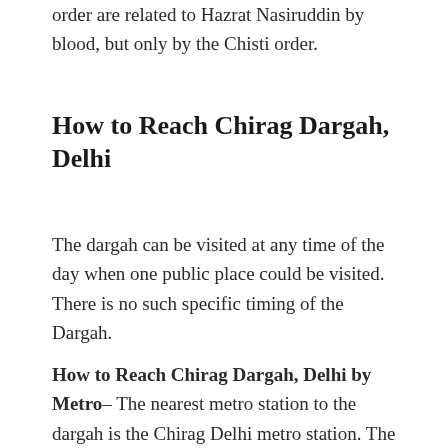order are related to Hazrat Nasiruddin by blood, but only by the Chisti order.
How to Reach Chirag Dargah, Delhi
The dargah can be visited at any time of the day when one public place could be visited. There is no such specific timing of the Dargah.
How to Reach Chirag Dargah, Delhi by Metro– The nearest metro station to the dargah is the Chirag Delhi metro station. The station can be reached by taking the